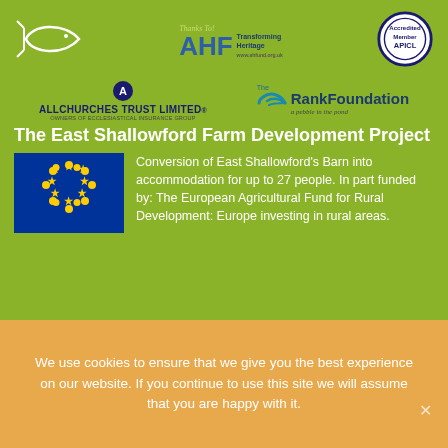[Figure (logo): Fish (Christian ichthys) outline logo, white on green background]
[Figure (logo): AHF Transforming Heritage logo with 'Thanks To!' text above]
[Figure (logo): Accredited Member APICL circular badge logo]
[Figure (logo): Allchurches Trust Limited logo - owners of Ecclesiastical Insurance Group]
[Figure (logo): The Rank Foundation logo - a pebble in the pond]
The East Shallowford Farm Development Project
[Figure (logo): European Union flag - blue rectangle with circle of gold stars]
Conversion of East Shallowford's Barn into accommodation for up to 27 people. In part funded by: The European Agricultural Fund for Rural Development: Europe investing in rural areas.
We use cookies to ensure that we give you the best experience on our website. If you continue to use this site we will assume that you are happy with it.